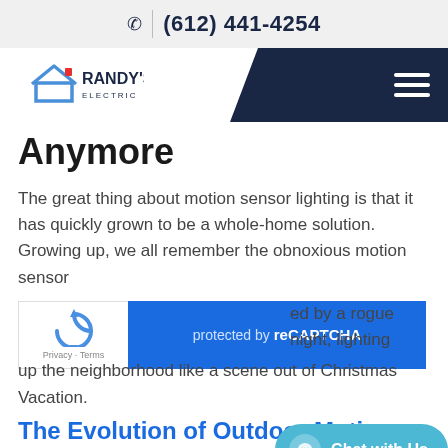(612) 441-4254
[Figure (logo): Randy's Electric logo with house roof icon and company name]
Anymore
The great thing about motion sensor lighting is that it has quickly grown to be a whole-home solution. Growing up, we all remember the obnoxious motion sensor
[Figure (screenshot): reCAPTCHA protected by reCAPTCHA widget overlaying text]
ed by a rogue night, lighting up the neighborhood like a scene out of Christmas Vacation.
The Evolution of Outdoor Motion